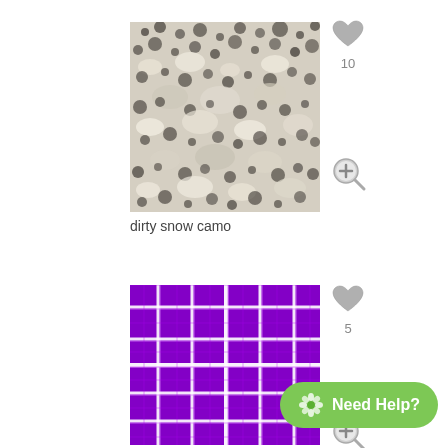[Figure (photo): Dirty snow camouflage texture — speckled white, grey, and black gravel/sand pattern]
10
dirty snow camo
[Figure (photo): Purple plaid/tartan fabric texture pattern with white and light purple grid lines on dark purple background]
5